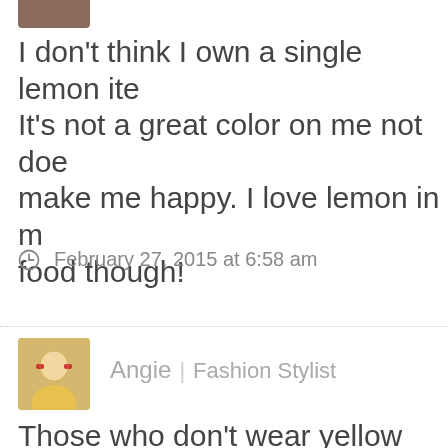[Figure (photo): Partial avatar/profile photo cropped at top of page]
I don't think I own a single lemon ite… It's not a great color on me not doe… make me happy. I love lemon in my food though!
February 27, 2015 at 6:58 am
[Figure (photo): Profile photo of Angie, a woman with blonde hair and red glasses wearing a yellow top]
Angie | Fashion Stylist
Those who don't wear yellow can ea… cheesecake, lemon meringue pie o…